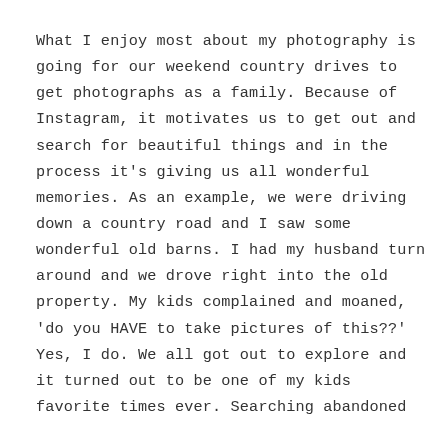What I enjoy most about my photography is going for our weekend country drives to get photographs as a family. Because of Instagram, it motivates us to get out and search for beautiful things and in the process it’s giving us all wonderful memories. As an example, we were driving down a country road and I saw some wonderful old barns. I had my husband turn around and we drove right into the old property. My kids complained and moaned, ‘do you HAVE to take pictures of this??’ Yes, I do. We all got out to explore and it turned out to be one of my kids favorite times ever. Searching abandoned